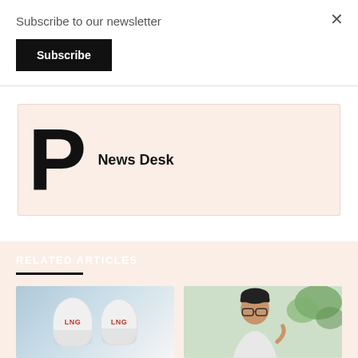Subscribe to our newsletter
Subscribe
[Figure (other): Author card with large letter P logo and name 'News Desk']
RELATED ARTICLES
[Figure (photo): LNG tanks/cylinders at a facility]
[Figure (photo): Person speaking, man with glasses gesturing]